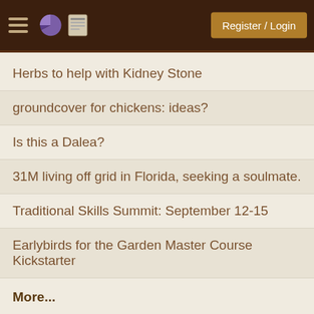Register / Login
Herbs to help with Kidney Stone
groundcover for chickens: ideas?
Is this a Dalea?
31M living off grid in Florida, seeking a soulmate.
Traditional Skills Summit: September 12-15
Earlybirds for the Garden Master Course Kickstarter
More...
All times above are in ranch (not your local) time. The current ranch time is Sep 05, 2022 07:24:06.